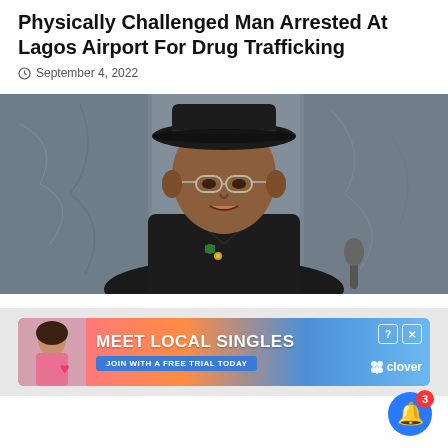Physically Challenged Man Arrested At Lagos Airport For Drug Trafficking
September 4, 2022
[Figure (photo): Photo of a man wearing a black hat and black attire, speaking at a podium, with a grey marble-textured background]
[Figure (infographic): Advertisement banner: MEET LOCAL SINGLES - JOIN WITH A FREE TRIAL TODAY - clover. Shows a woman on the left side with heart emoji. Has close and info buttons top right.]